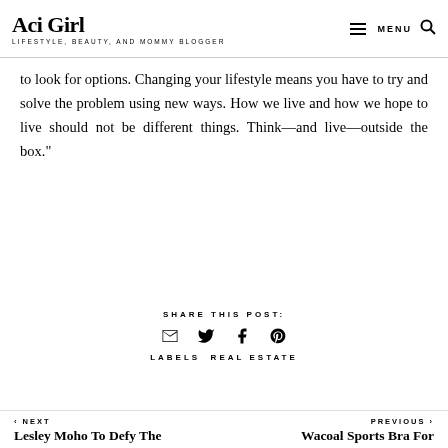Aci Girl — LIFESTYLE, BEAUTY, AND MOMMY BLOGGER
to look for options. Changing your lifestyle means you have to try and solve the problem using new ways. How we live and how we hope to live should not be different things. Think—and live—outside the box."
SHARE THIS POST:
LABELS REAL ESTATE
‹ NEXT — Lesley Moho To Defy The | PREVIOUS › — Wacoal Sports Bra For